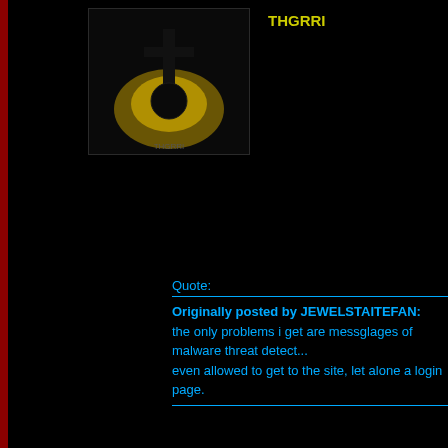THGRRI
[Figure (photo): Avatar image with dark background and a cross/figure silhouetted against a yellow/gold glowing circle]
Quote:
Originally posted by JEWELSTAITEFAN:
the only problems i get are messglages of malware threat detect... even allowed to get to the site, let alone a login page.
What is you operating system. I no longer have cisco installed on my comput...
NOTIFY: Y  |  R...
JEWELSTAITEFAN
[Figure (photo): Avatar image of a man with brown background]